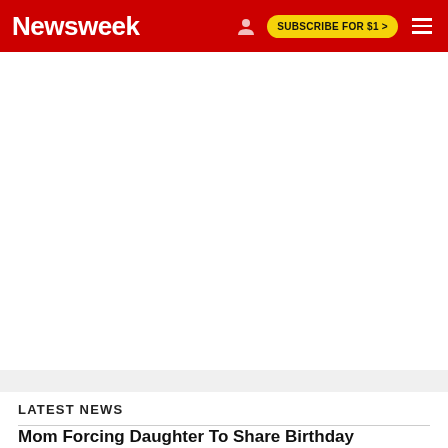Newsweek | SUBSCRIBE FOR $1 >
[Figure (other): Large white advertisement/placeholder area below the navigation bar]
LATEST NEWS
Mom Forcing Daughter To Share Birthday Presents With Stepchild Criticized